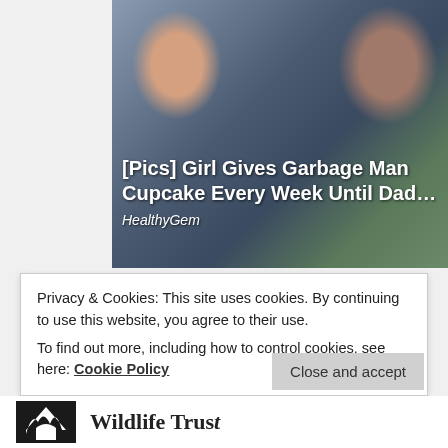[Figure (photo): Advertisement image showing a child and an adult person, with overlay text '[Pics] Girl Gives Garbage Man Cupcake Every Week Until Dad...' and source 'HealthyGem']
Posted in Blog | Tagged #30DaysWild, 30 Days Wild, alien species, ash, birch, brimstone, broad-bodied chaser, common blue, Day 2, dragonflies, emperor dragonfly, Eristalis horticola, flame shoulder, foodpaints of hawk-moths, four-spotted chaser, fox moth, garden meadow, hawk-moths, heart and dart, hoverfly, Iris laevigata, light brocade, lilac, lime, lime hawk moth, mire, moth trapping, privet hawk-moth, storksbill, the New Forest, treble lines, What's in my meadow today?, white water-lily, wild carrot |
Privacy & Cookies: This site uses cookies. By continuing to use this website, you agree to their use.
To find out more, including how to control cookies, see here: Cookie Policy
Close and accept
[Figure (logo): Wildlife Trust logo at the bottom of the page — black animal silhouette with 'Wildlife Trust' text]